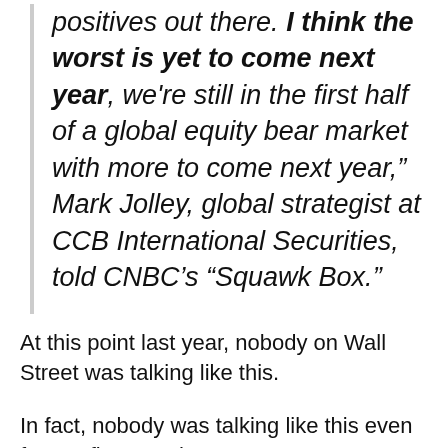positives out there. I think the worst is yet to come next year, we're still in the first half of a global equity bear market with more to come next year," Mark Jolley, global strategist at CCB International Securities, told CNBC's "Squawk Box."
At this point last year, nobody on Wall Street was talking like this.
In fact, nobody was talking like this even four or five months ago.